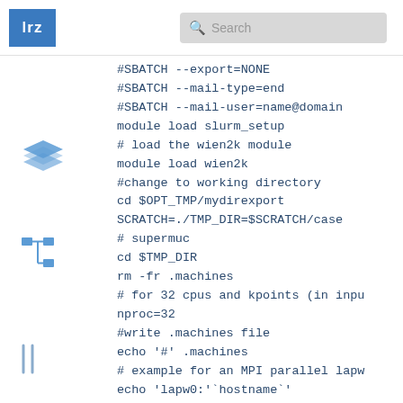[Figure (logo): LRZ logo - blue square with white text 'lrz']
Search bar
[Figure (illustration): Sidebar navigation icons: layers icon and tree/hierarchy icon and parallel lines icon]
#SBATCH --export=NONE
#SBATCH --mail-type=end
#SBATCH --mail-user=name@domain
module load slurm_setup
# load the wien2k module
module load wien2k
#change to working directory
cd $OPT_TMP/mydirexport
SCRATCH=./TMP_DIR=$SCRATCH/case
# supermuc
cd $TMP_DIR
rm -fr .machines
# for 32 cpus and kpoints (in inpu
nproc=32
#write .machines file
echo '#' .machines
# example for an MPI parallel lapw
echo 'lapw0:'`hostname`'
:'$nproc >> .machines
# k-point and mpi parallel lapw1/2
echo '1:'`hostname`':3' >> .machin